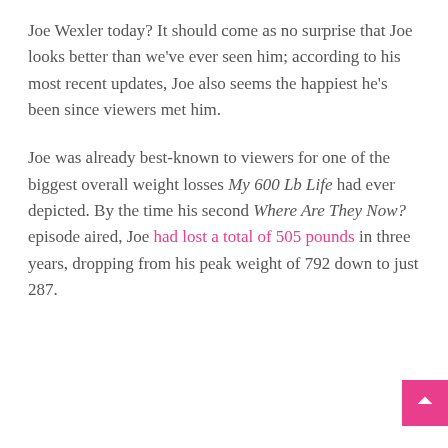Joe Wexler today? It should come as no surprise that Joe looks better than we've ever seen him; according to his most recent updates, Joe also seems the happiest he's been since viewers met him.
Joe was already best-known to viewers for one of the biggest overall weight losses My 600 Lb Life had ever depicted. By the time his second Where Are They Now? episode aired, Joe had lost a total of 505 pounds in three years, dropping from his peak weight of 792 down to just 287.